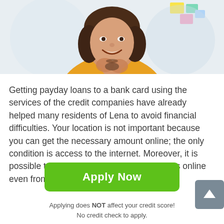[Figure (photo): Smiling young woman with brown curly hair wearing a yellow/mustard top, holding glasses, bright background with colorful notes visible]
Getting payday loans to a bank card using the services of the credit companies have already helped many residents of Lena to avoid financial difficulties. Your location is not important because you can get the necessary amount online; the only condition is access to the internet. Moreover, it is possible to make a request for payday loans online even from a mobile phone or tablet: after
Apply Now
Applying does NOT affect your credit score!
No credit check to apply.